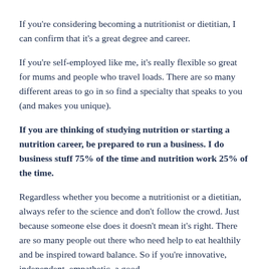If you're considering becoming a nutritionist or dietitian, I can confirm that it's a great degree and career.
If you're self-employed like me, it's really flexible so great for mums and people who travel loads. There are so many different areas to go in so find a specialty that speaks to you (and makes you unique).
If you are thinking of studying nutrition or starting a nutrition career, be prepared to run a business. I do business stuff 75% of the time and nutrition work 25% of the time.
Regardless whether you become a nutritionist or a dietitian, always refer to the science and don't follow the crowd. Just because someone else does it doesn't mean it's right. There are so many people out there who need help to eat healthily and be inspired toward balance. So if you're innovative, independent, empathetic, a good